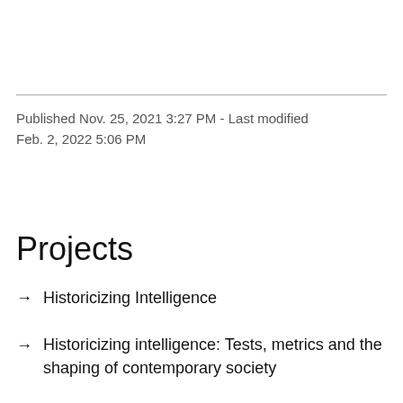Published Nov. 25, 2021 3:27 PM - Last modified Feb. 2, 2022 5:06 PM
Projects
→ Historicizing Intelligence
→ Historicizing intelligence: Tests, metrics and the shaping of contemporary society